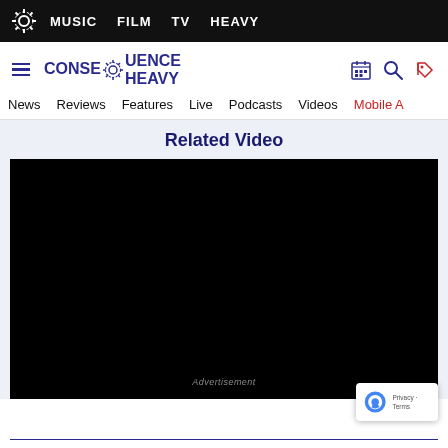MUSIC  FILM  TV  HEAVY
[Figure (logo): Consequence Heavy logo with gear icon, hamburger menu, search and tag icons]
News  Reviews  Features  Live  Podcasts  Videos  Mobile A
Related Video
[Figure (screenshot): Black video player area with Advertisement label and reCAPTCHA badge overlay showing Privacy · Terms]
Of course, metal fans are more familiar with